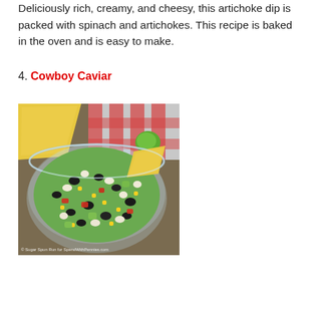Deliciously rich, creamy, and cheesy, this artichoke dip is packed with spinach and artichokes. This recipe is baked in the oven and is easy to make.
4. Cowboy Caviar
[Figure (photo): Overhead photo of a glass bowl filled with cowboy caviar — a colorful mixture of black beans, black-eyed peas, corn, diced red bell pepper, avocado, and other vegetables. A tortilla chip is dipped into the bowl. Additional chips and a red checkered napkin are visible in the background along with a lime.]